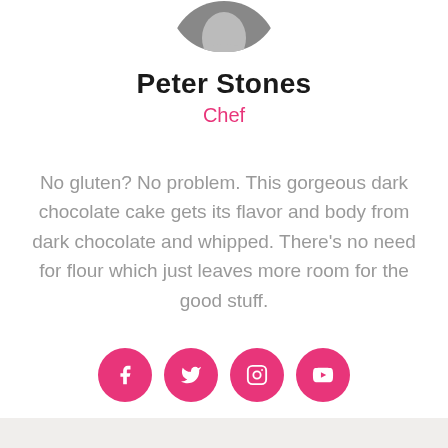[Figure (photo): Circular profile photo of Peter Stones, partially visible at top of page, cropped to show bottom half]
Peter Stones
Chef
No gluten? No problem. This gorgeous dark chocolate cake gets its flavor and body from dark chocolate and whipped. There’s no need for flour which just leaves more room for the good stuff.
[Figure (infographic): Four pink circular social media icon buttons: Facebook, Twitter, Instagram, YouTube]